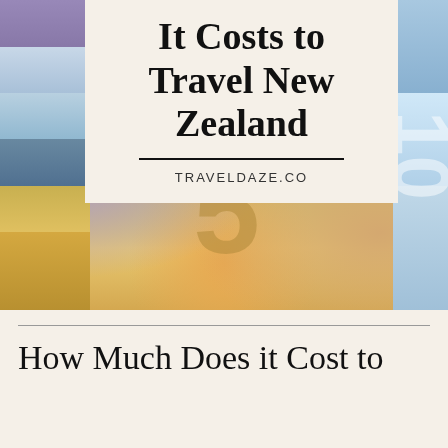[Figure (photo): New Zealand currency notes (colorful polymer banknotes) arranged as background with purple, blue, teal, and orange/gold tones]
It Costs to Travel New Zealand
TRAVELDAZE.CO
How Much Does it Cost to